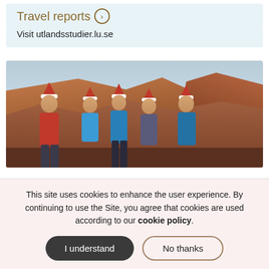Travel reports ›
Visit utlandsstudier.lu.se
[Figure (photo): Group of five people wearing Santa hats standing at the Grand Canyon, smiling and posing for a photo. Some wear red and blue jackets.]
This site uses cookies to enhance the user experience. By continuing to use the Site, you agree that cookies are used according to our cookie policy.
I understand
No thanks